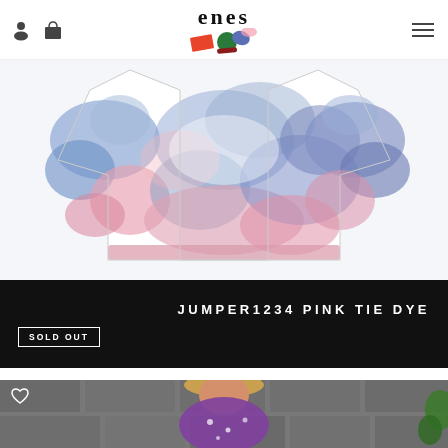enes (logo with shapes)
[Figure (photo): Tie dye pink and blue jumper/sweater displayed flat on white background]
JUMPER1234 PINK TIE DYE
SOLD OUT
[Figure (photo): Woman wearing purple tie dye outfit, photographed outdoors against stone wall]